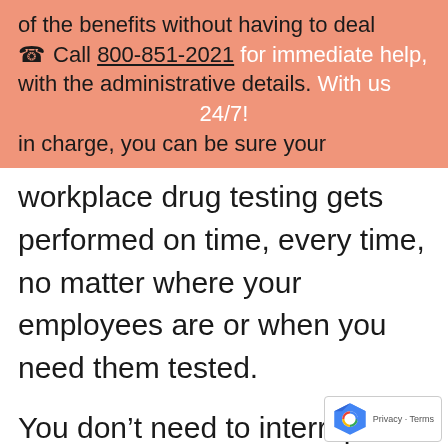of the benefits without having to deal ☎ Call 800-851-2021 for immediate help, with the administrative details. With us 24/7! in charge, you can be sure your
workplace drug testing gets performed on time, every time, no matter where your employees are or when you need them tested.
You don't need to interrupt the employee's sleep cycle to go to a drug testing lab during normal business hours. Now you won't need to send